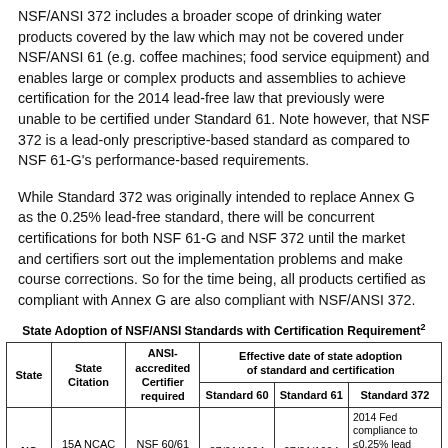NSF/ANSI 372 includes a broader scope of drinking water products covered by the law which may not be covered under NSF/ANSI 61 (e.g. coffee machines; food service equipment) and enables large or complex products and assemblies to achieve certification for the 2014 lead-free law that previously were unable to be certified under Standard 61. Note however, that NSF 372 is a lead-only prescriptive-based standard as compared to NSF 61-G's performance-based requirements.
While Standard 372 was originally intended to replace Annex G as the 0.25% lead-free standard, there will be concurrent certifications for both NSF 61-G and NSF 372 until the market and certifiers sort out the implementation problems and make course corrections. So for the time being, all products certified as compliant with Annex G are also compliant with NSF/ANSI 372.
State Adoption of NSF/ANSI Standards with Certification Requirement²
| State | State Citation | ANSI-accredited Certifier required | Standard 60 | Standard 61 | Standard 372 |
| --- | --- | --- | --- | --- | --- |
| NC | 15A NCAC 18c.1537 | NSF 60/61 only | 07/01/1994 | 07/01/1994 | 2014 Fed compliance to ≤0.25% lead content, but no req for 372 certifice* |
| SC* | R.6 1-58.2 (B) | NSF 60/61 | 07/28/1995 | 12/31/1995 | 2012 State re |